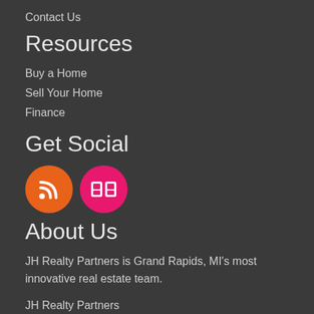Contact Us
Resources
Buy a Home
Sell Your Home
Finance
Get Social
[Figure (illustration): Two social media icon circles: orange RSS icon and pink Flickr icon]
About Us
JH Realty Partners is Grand Rapids, MI's most innovative real estate team.
JH Realty Partners
545 Ada Drive, Ada, MI 49301
☏ (616) 682-2820